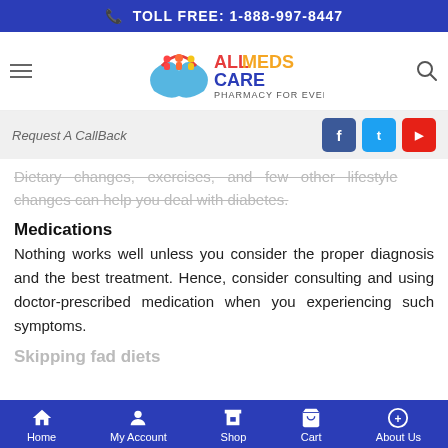TOLL FREE: 1-888-997-8447
[Figure (logo): All Meds Care - Pharmacy For Everyone logo with colorful figures and hands]
Request A CallBack
Dietary changes, exercises, and few other lifestyle changes can help you deal with diabetes.
Medications
Nothing works well unless you consider the proper diagnosis and the best treatment. Hence, consider consulting and using doctor-prescribed medication when you experiencing such symptoms.
Skipping fad diets
Home  My Account  Shop  Cart  About Us